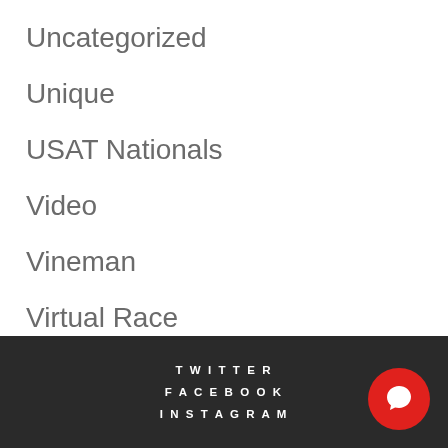Uncategorized
Unique
USAT Nationals
Video
Vineman
Virtual Race
WeeklyUpdate
TWITTER  FACEBOOK  INSTAGRAM